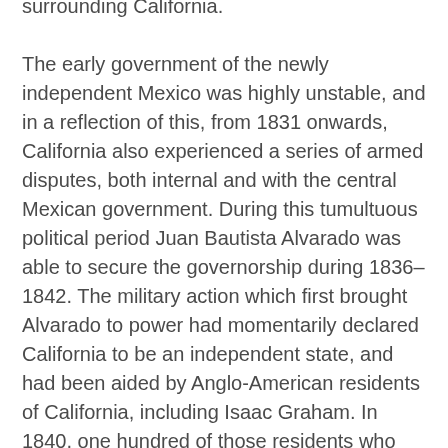surrounding California. The early government of the newly independent Mexico was highly unstable, and in a reflection of this, from 1831 onwards, California also experienced a series of armed disputes, both internal and with the central Mexican government. During this tumultuous political period Juan Bautista Alvarado was able to secure the governorship during 1836–1842. The military action which first brought Alvarado to power had momentarily declared California to be an independent state, and had been aided by Anglo-American residents of California, including Isaac Graham. In 1840, one hundred of those residents who did not have passports